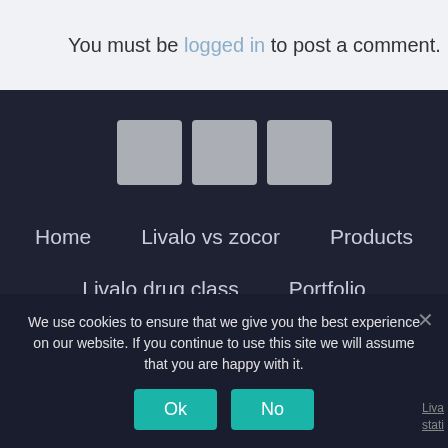You must be logged in to post a comment.
Home
Livalo vs zocor
Products
Livalo drug class
Portfolio
Contact Us
Disclaimer
Terms
We use cookies to ensure that we give you the best experience on our website. If you continue to use this site we will assume that you are happy with it.